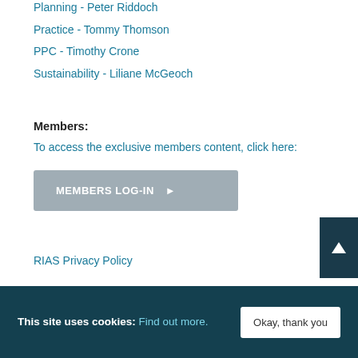Planning - Peter Riddoch
Practice - Tommy Thomson
PPC - Timothy Crone
Sustainability - Liliane McGeoch
Members:
To access the exclusive members content, click here:
MEMBERS LOG-IN
RIAS Privacy Policy
This site uses cookies: Find out more.